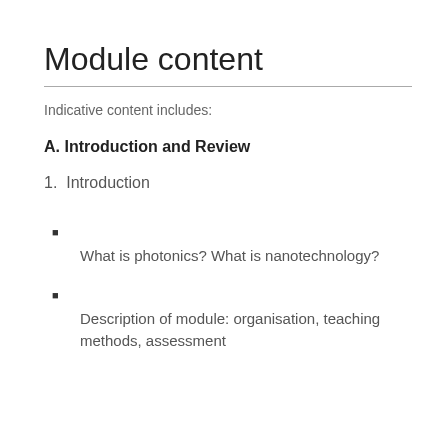Module content
Indicative content includes:
A. Introduction and Review
1. Introduction
What is photonics? What is nanotechnology?
Description of module: organisation, teaching methods, assessment